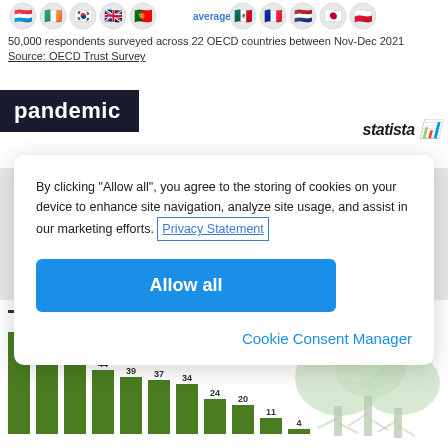50,000 respondents surveyed across 22 OECD countries between Nov-Dec 2021
Source: OECD Trust Survey
pandemic
statista
By clicking "Allow all", you agree to the storing of cookies on your device to enhance site navigation, analyze site usage, and assist in our marketing efforts. Privacy Statement
Allow all
Cookie Consent Manager
of capitals, in %
[Figure (bar-chart): Bar chart (partial)]